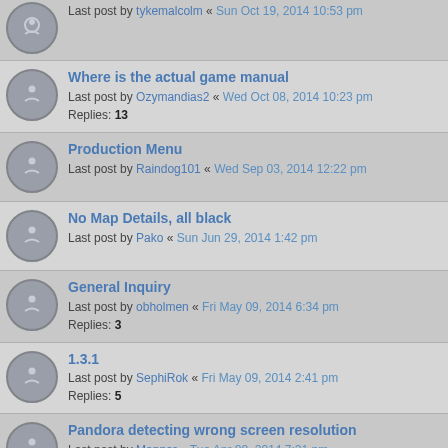Last post by tykemalcolm « Sun Oct 19, 2014 10:53 pm
Where is the actual game manual
Last post by Ozymandias2 « Wed Oct 08, 2014 10:23 pm
Replies: 13
Production Menu
Last post by Raindog101 « Wed Sep 03, 2014 12:22 pm
No Map Details, all black
Last post by Pako « Sun Jun 29, 2014 1:42 pm
General Inquiry
Last post by obholmen « Fri May 09, 2014 6:34 pm
Replies: 3
1.3.1
Last post by SephiRok « Fri May 09, 2014 2:41 pm
Replies: 5
Pandora detecting wrong screen resolution
Last post by Mapper « Tue Apr 08, 2014 7:21 pm
Balancing game speeds.
Last post by Gnu89 « Tue Mar 04, 2014 7:35 pm
Background programs preventing Pandora from working normally. So i have conflict with Win7 ?
Last post by SephiRok « Thu Feb 27, 2014 3:59 pm
Replies: 3
Game Failed to Initialize
Last post by SephiRok « Thu Feb 27, 2014 2:20 pm
Replies: 2
Game Finished ?